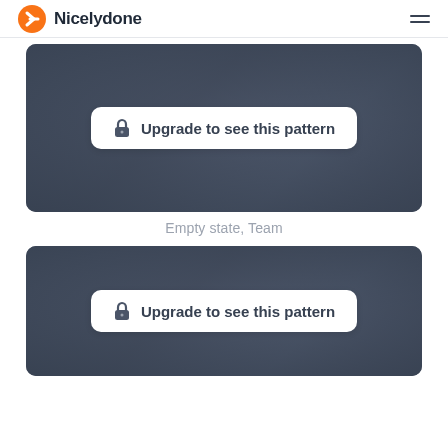Nicelydone
[Figure (screenshot): Dark blurred card with 'Upgrade to see this pattern' button overlay]
Empty state, Team
[Figure (screenshot): Dark blurred card with 'Upgrade to see this pattern' button overlay]